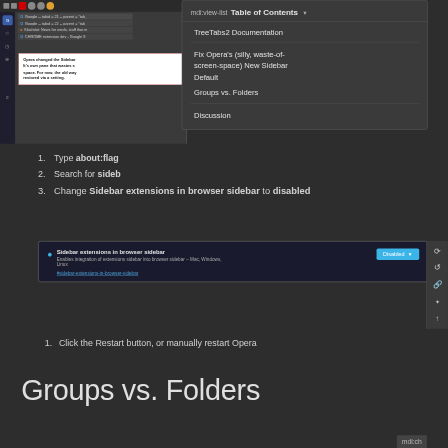[Figure (screenshot): Browser window showing Opera sidebar with tabs including Google and Slashdot, and a popup note about Opera changing the Sidebar behavior with a red border box]
[Figure (screenshot): Table of Contents dropdown overlay showing: mdi:view-list Table of Contents header, TreeTabs2 Documentation, Fix Opera's (silly, waste-of-screen-space) New Sidebar Default, Groups vs. Folders, Discussion]
1. Type about:flag
2. Search for sidebar
3. Change Sidebar extensions in browser sidebar to disabled
[Figure (screenshot): Opera browser flags settings screenshot showing 'Sidebar extensions in browser sidebar' option set to 'Disabled' with a blue dropdown button and description text about Mac, Windows, Linux, and a link #sidebar-extensions-in-browser-sidebar]
1. Click the Restart button, or manually restart Opera
Groups vs. Folders